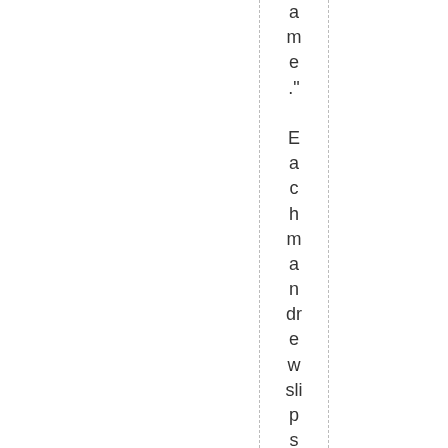ame." Each man drew slips of paper, with MacN